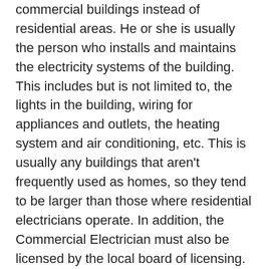commercial buildings instead of residential areas. He or she is usually the person who installs and maintains the electricity systems of the building. This includes but is not limited to, the lights in the building, wiring for appliances and outlets, the heating system and air conditioning, etc. This is usually any buildings that aren't frequently used as homes, so they tend to be larger than those where residential electricians operate. In addition, the Commercial Electrician must also be licensed by the local board of licensing.
There are several different kinds of Residential Electrician. For example, there are some who specialize in the installation of new construction. The Electrician for new construction must be able to install and repair lighting, appliances, and outlets. He or she must be familiar with the codes and safety regulations that apply to the construction of office buildings, apartment complexes, shopping centers, and other similar commercial places. Commercial electricians who are hired for new construction offices are often sent ahead of the crews of